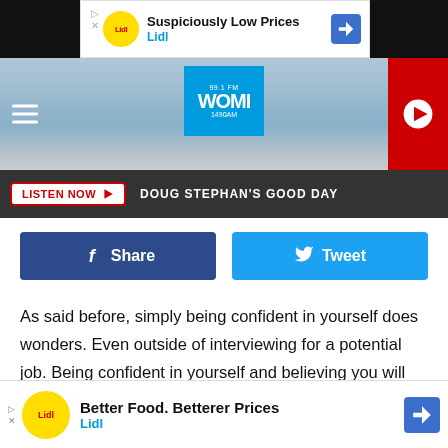[Figure (screenshot): Lidl ad banner: Suspiciously Low Prices]
[Figure (screenshot): WOMI 99.1 FM / 1490 AM radio station header banner with logo and play button]
LISTEN NOW  DOUG STEPHAN'S GOOD DAY
Share
Tweet
As said before, simply being confident in yourself does wonders. Even outside of interviewing for a potential job. Being confident in yourself and believing you will succeed will get you far. You could be the worst interviewer in the world, but following these tips, being confident in what you say, and being genuine, will be amazing traits that possible employers
[Figure (screenshot): Lidl ad banner: Better Food. Betterer Prices]